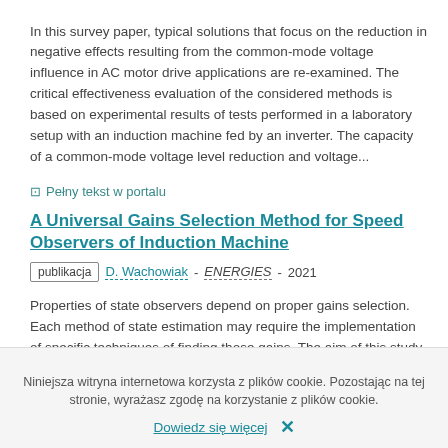In this survey paper, typical solutions that focus on the reduction in negative effects resulting from the common-mode voltage influence in AC motor drive applications are re-examined. The critical effectiveness evaluation of the considered methods is based on experimental results of tests performed in a laboratory setup with an induction machine fed by an inverter. The capacity of a common-mode voltage level reduction and voltage...
Pełny tekst w portalu
A Universal Gains Selection Method for Speed Observers of Induction Machine
publikacja  D. Wachowiak - ENERGIES - 2021
Properties of state observers depend on proper gains selection. Each method of state estimation may require the implementation of specific techniques of finding those gains. The aim of this study is to propose a universal method of automatic gains selection and perform its verification on an induction machine speed observer. The method utilizes a
Niniejsza witryna internetowa korzysta z plików cookie. Pozostając na tej stronie, wyrażasz zgodę na korzystanie z plików cookie.
Dowiedz się więcej